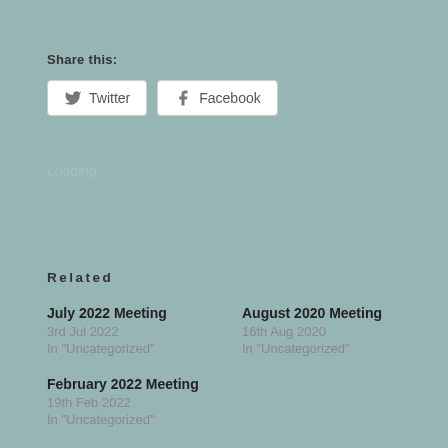Share this:
Twitter  Facebook
Loading...
Related
July 2022 Meeting
3rd Jul 2022
In "Uncategorized"
August 2020 Meeting
16th Aug 2020
In "Uncategorized"
February 2022 Meeting
19th Feb 2022
In "Uncategorized"